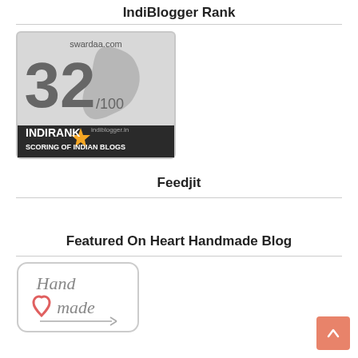IndiBlogger Rank
[Figure (logo): IndiBlogger IndiRank badge showing swardaa.com ranked 32/100 with India map silhouette, gold star, indiblogger.in logo and text 'INDIRANK SCORING OF INDIAN BLOGS']
Feedjit
Featured On Heart Handmade Blog
[Figure (logo): Handmade blog badge with cursive 'Hand made' text and a red heart outline with a pen/pencil, rounded rectangle border]